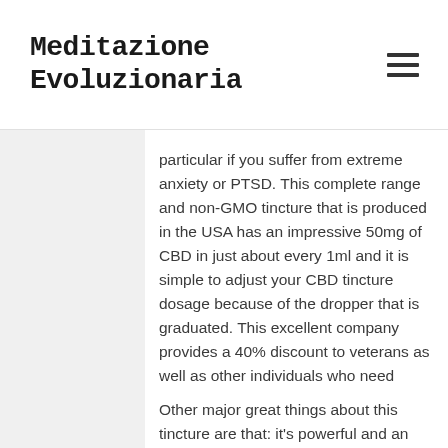Meditazione Evoluzionaria
particular if you suffer from extreme anxiety or PTSD. This complete range and non-GMO tincture that is produced in the USA has an impressive 50mg of CBD in just about every 1ml and it is simple to adjust your CBD tincture dosage because of the dropper that is graduated. This excellent company provides a 40% discount to veterans as well as other individuals who need certainly to utilize CBD frequently therefore it is well worth talking to them if you are planning to utilize this oil regularly.
Other major great things about this tincture are that: it's powerful and an